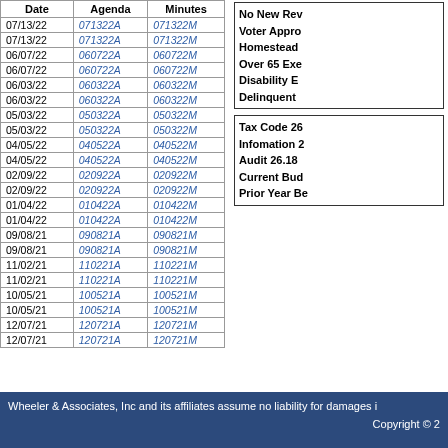| Date | Agenda | Minutes |
| --- | --- | --- |
| 07/13/22 | 071322A | 071322M |
| 07/13/22 | 071322A | 071322M |
| 06/07/22 | 060722A | 060722M |
| 06/07/22 | 060722A | 060722M |
| 06/03/22 | 060322A | 060322M |
| 06/03/22 | 060322A | 060322M |
| 05/03/22 | 050322A | 050322M |
| 05/03/22 | 050322A | 050322M |
| 04/05/22 | 040522A | 040522M |
| 04/05/22 | 040522A | 040522M |
| 02/09/22 | 020922A | 020922M |
| 02/09/22 | 020922A | 020922M |
| 01/04/22 | 010422A | 010422M |
| 01/04/22 | 010422A | 010422M |
| 09/08/21 | 090821A | 090821M |
| 09/08/21 | 090821A | 090821M |
| 11/02/21 | 110221A | 110221M |
| 11/02/21 | 110221A | 110221M |
| 10/05/21 | 100521A | 100521M |
| 10/05/21 | 100521A | 100521M |
| 12/07/21 | 120721A | 120721M |
| 12/07/21 | 120721A | 120721M |
No New Rev...
Voter Appro...
Homestead ...
Over 65 Exe...
Disability E...
Delinquent ...
Tax Code 26...
Infomation 2...
Audit 26.18 ...
Current Bud...
Prior Year Be...
Wheeler & Associates, Inc and its affiliates assume no liability for damages i...
Copyright © 2...